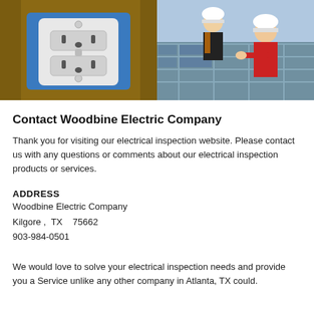[Figure (photo): Close-up photo of a white electrical outlet/receptacle mounted in a blue electrical box, with wood visible in the background.]
[Figure (photo): Two workers in hard hats and safety vests installing solar panels on a rooftop. One worker wears a red shirt.]
Contact Woodbine Electric Company
Thank you for visiting our electrical inspection website. Please contact us with any questions or comments about our electrical inspection products or services.
ADDRESS
Woodbine Electric Company
Kilgore ,  TX   75662
903-984-0501
We would love to solve your electrical inspection needs and provide you a Service unlike any other company in Atlanta, TX could.